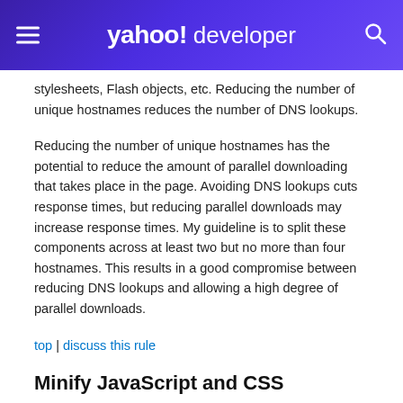yahoo! developer
stylesheets, Flash objects, etc. Reducing the number of unique hostnames reduces the number of DNS lookups.
Reducing the number of unique hostnames has the potential to reduce the amount of parallel downloading that takes place in the page. Avoiding DNS lookups cuts response times, but reducing parallel downloads may increase response times. My guideline is to split these components across at least two but no more than four hostnames. This results in a good compromise between reducing DNS lookups and allowing a high degree of parallel downloads.
top | discuss this rule
Minify JavaScript and CSS
tag: javascript, css
Minification is the practice of removing unnecessary characters